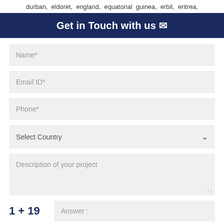durban,  eldoret,  england,  equatorial  guinea,  erbil,  eritrea,
Get in Touch with us ✉
Name*
Email ID*
Phone*
Select Country
Description of your project
1 + 19
Answer :
SUBMIT